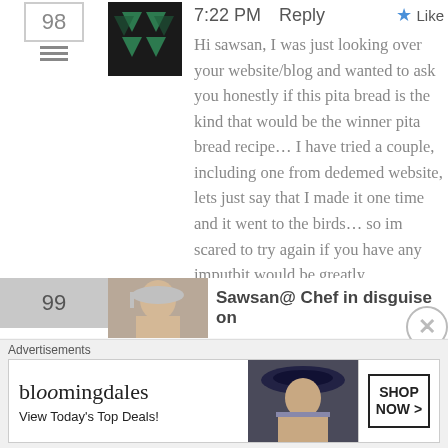7:22 PM   Reply   ★ Like
Hi sawsan, I was just looking over your website/blog and wanted to ask you honestly if this pita bread is the kind that would be the winner pita bread recipe... I have tried a couple, including one from dedemed website, lets just say that I made it one time and it went to the birds... so im scared to try again if you have any imputbit would be greatly appreciated thank you
Sawsan@ Chef in disguise on
[Figure (screenshot): Bloomingdales advertisement banner: 'View Today's Top Deals!' with 'SHOP NOW >' button and woman in hat image]